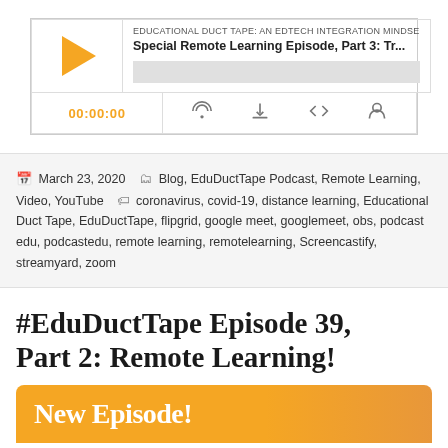[Figure (screenshot): Podcast player widget showing 'EDUCATIONAL DUCT TAPE: AN EDTECH INTEGRATION MINDSE' with episode title 'Special Remote Learning Episode, Part 3: Tr...' with play button, progress bar, time display 00:00:00, and control icons for RSS, download, embed, and share.]
March 23, 2020   Blog, EduDuctTape Podcast, Remote Learning, Video, YouTube   coronavirus, covid-19, distance learning, Educational Duct Tape, EduDuctTape, flipgrid, google meet, googlemeet, obs, podcast edu, podcastedu, remote learning, remotelearning, Screencastify, streamyard, zoom
#EduDuctTape Episode 39, Part 2: Remote Learning!
[Figure (illustration): Orange banner with 'New Episode!' text in white serif font]